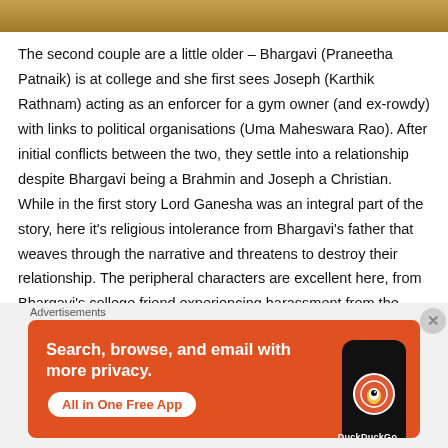[Figure (photo): Top strip showing partial image with warm golden/brown tones, likely a person or statue]
The second couple are a little older – Bhargavi (Praneetha Patnaik) is at college and she first sees Joseph (Karthik Rathnam) acting as an enforcer for a gym owner (and ex-rowdy) with links to political organisations (Uma Maheswara Rao). After initial conflicts between the two, they settle into a relationship despite Bhargavi being a Brahmin and Joseph a Christian. While in the first story Lord Ganesha was an integral part of the story, here it's religious intolerance from Bhargavi's father that weaves through the narrative and threatens to destroy their relationship. The peripheral characters are excellent here, from Bhargavi's college friend experiencing harassment from the principal's son, to Joseph's friends who
Advertisements
[Figure (screenshot): DuckDuckGo advertisement banner with orange background. Text reads: Search, browse, and email with more privacy. All in One Free App. Shows a phone with DuckDuckGo logo.]